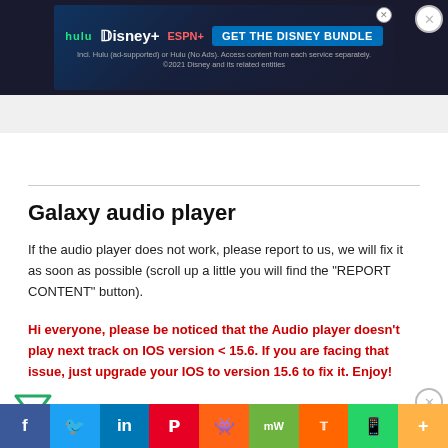[Figure (screenshot): Disney Bundle advertisement banner with Hulu, Disney+, and ESPN+ logos and a 'GET THE DISNEY BUNDLE' call-to-action button on dark blue background. Fine print reads: Incl. Hulu (ad-supported) or Hulu (No Ads). Access content from each service separately. ©2021 Disney and its related entities]
Galaxy audio player
If the audio player does not work, please report to us, we will fix it as soon as possible (scroll up a little you will find the "REPORT CONTENT" button).
Hi everyone, please be noticed that the Audio player doesn't play next track on IOS version < 15.6. If you are facing that issue, just upgrade your IOS to version 15.6 to fix it. Enjoy!
[Figure (screenshot): Social sharing bar with Facebook, Twitter, LinkedIn, Pinterest, Reddit, MW, and other social media icons]